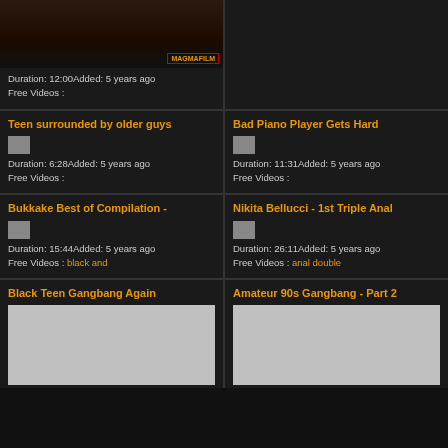[Figure (screenshot): Video thumbnail with MAGMAFILM badge]
Duration: 12:00Added: 5 years ago
Free Videos :
[Figure (screenshot): Dark right panel top]
Teen surrounded by older guys
[Figure (screenshot): Small broken image thumbnail]
Duration: 6:28Added: 5 years ago
Free Videos :
Bad Piano Player Gets Hard
[Figure (screenshot): Small broken image thumbnail]
Duration: 11:31Added: 5 years ago
Free Videos :
Bukkake Best of Compilation -
[Figure (screenshot): Small broken image thumbnail]
Duration: 15:44Added: 5 years ago
Free Videos : black and
Nikita Bellucci - 1st Triple Anal
[Figure (screenshot): Small broken image thumbnail]
Duration: 26:11Added: 5 years ago
Free Videos : anal double
Black Teen Gangbang Again
[Figure (screenshot): Gray thumbnail placeholder]
Amateur 90s Gangbang - Part 2
[Figure (screenshot): Gray thumbnail placeholder]